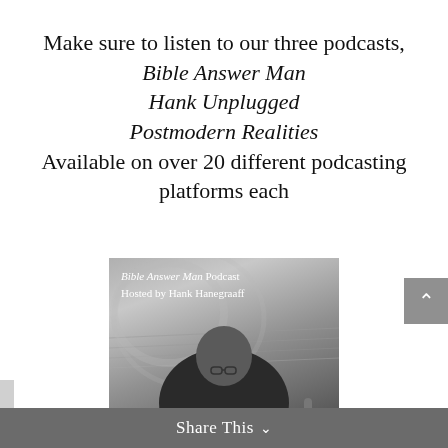Make sure to listen to our three podcasts, Bible Answer Man Hank Unplugged Postmodern Realities Available on over 20 different podcasting platforms each
[Figure (photo): Black and white photo of a bald man with glasses sitting at a desk, reading. Text overlay reads 'Bible Answer Man Podcast Hosted by Hank Hanegraaff'.]
Share This